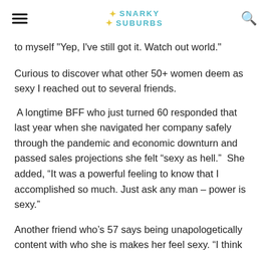Snarky in the Suburbs
to myself "Yep, I've still got it. Watch out world."
Curious to discover what other 50+ women deem as sexy I reached out to several friends.
A longtime BFF who just turned 60 responded that last year when she navigated her company safely through the pandemic and economic downturn and passed sales projections she felt “sexy as hell.”  She added, “It was a powerful feeling to know that I accomplished so much. Just ask any man – power is sexy.”
Another friend who’s 57 says being unapologetically content with who she is makes her feel sexy. “I think